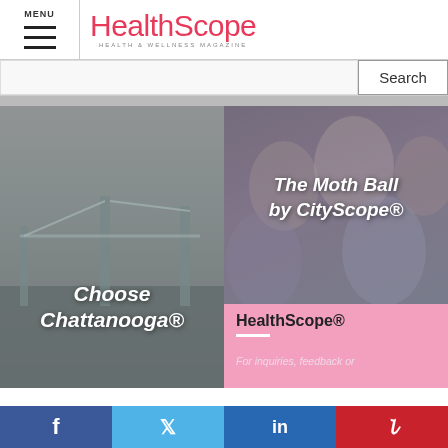MENU
HealthScope Health & Wellness Magazine
Search
[Figure (photo): Bridge photo with text overlay: Choose Chattanooga®]
[Figure (photo): Group of people smiling with text overlay: The Moth Ball by CityScope®]
HealthScope®
For inquiries, feedback or
f  Twitter  in  Pinterest social sharing buttons